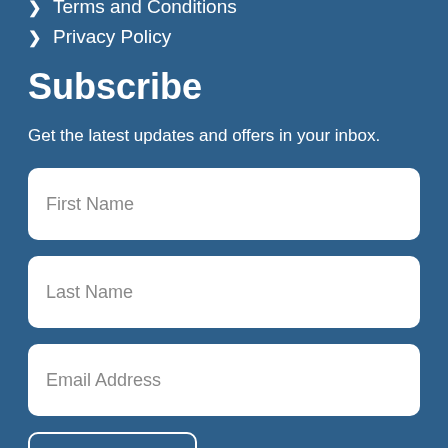Terms and Conditions
Privacy Policy
Subscribe
Get the latest updates and offers in your inbox.
First Name
Last Name
Email Address
SUBSCRIBE